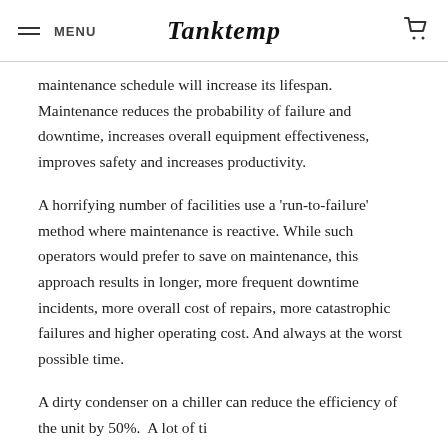MENU | Tanktemp
maintenance schedule will increase its lifespan. Maintenance reduces the probability of failure and downtime, increases overall equipment effectiveness, improves safety and increases productivity.
A horrifying number of facilities use a 'run-to-failure' method where maintenance is reactive. While such operators would prefer to save on maintenance, this approach results in longer, more frequent downtime incidents, more overall cost of repairs, more catastrophic failures and higher operating cost. And always at the worst possible time.
A dirty condenser on a chiller can reduce the efficiency of the unit by 50%.  A lot of ti...